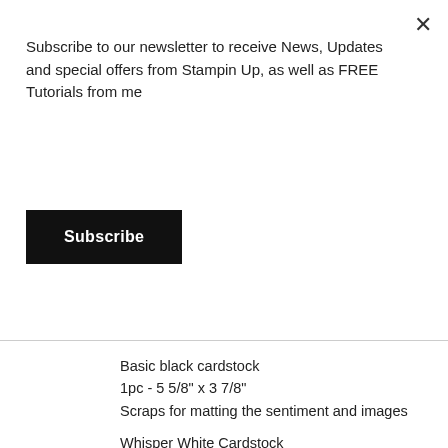Subscribe to our newsletter to receive News, Updates and special offers from Stampin Up, as well as FREE Tutorials from me
Subscribe
Basic black cardstock
1pc - 5 5/8" x 3 7/8"
Scraps for matting the sentiment and images
Whisper White Cardstock
1pc - 5 3/8" x 3 5/8"
Scraps for the images
Create your card base by folding the thick whisper white along the s edges of the card front. Come in quite a bit, but concentrate the colo
Add the basic black and whisper white panels to the inside.
On seperate pieces of scrap whisper white stamp the Deer, the Bear used are below, but you can pick any colours really.  Trim these dow